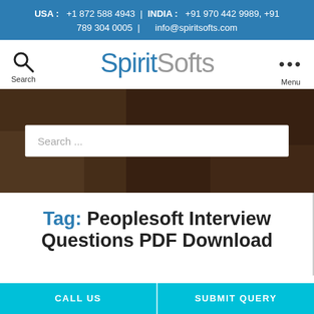USA : +1 872 588 4943 | INDIA : +91 970 442 9989, +91 789 304 0005 | info@spiritsofts.com
SpiritSofts
[Figure (screenshot): Search banner with blurred dark background showing a desk scene, containing a search input field with placeholder 'Search ...']
Tag: Peoplesoft Interview Questions PDF Download
CALL US | SUBMIT QUERY